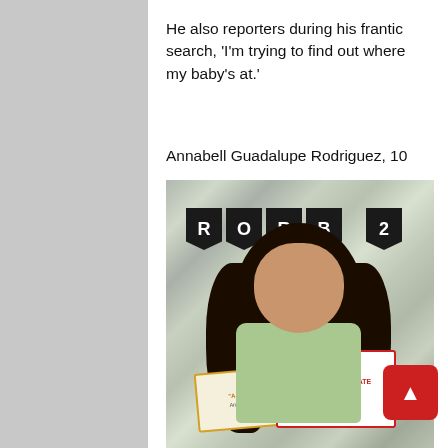He also reporters during his frantic search, ‘I’m trying to find out where my baby’s at.’
Annabell Guadalupe Rodriguez, 10
[Figure (photo): Photo of Annabell Guadalupe Rodriguez, age 10, a young girl with long dark hair, wearing a light-colored printed shirt. She is holding two certificates: one reading 'A-B Honor Roll' and one reading 'Music Certificate'. Behind her is a silver glitter curtain backdrop and black bunting flags spelling 'ROBB 2'.]